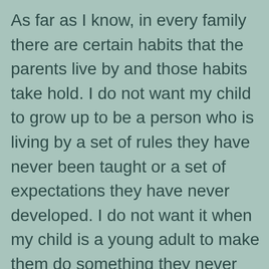As far as I know, in every family there are certain habits that the parents live by and those habits take hold. I do not want my child to grow up to be a person who is living by a set of rules they have never been taught or a set of expectations they have never developed. I do not want it when my child is a young adult to make them do something they never thought they could.
You realize that some things just grow on you. You do not consciously choose the attributes or characteristics that you display. You just find